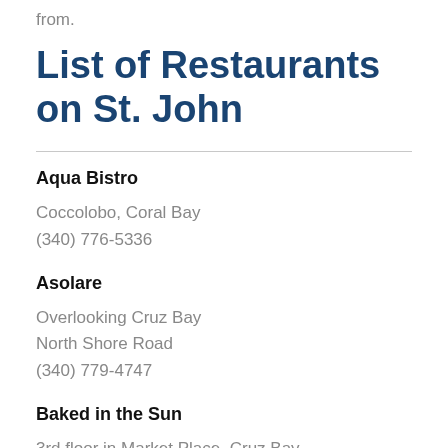from.
List of Restaurants on St. John
Aqua Bistro
Coccolobo, Coral Bay
(340) 776-5336
Asolare
Overlooking Cruz Bay
North Shore Road
(340) 779-4747
Baked in the Sun
3rd floor in Market Place, Cruz Bay